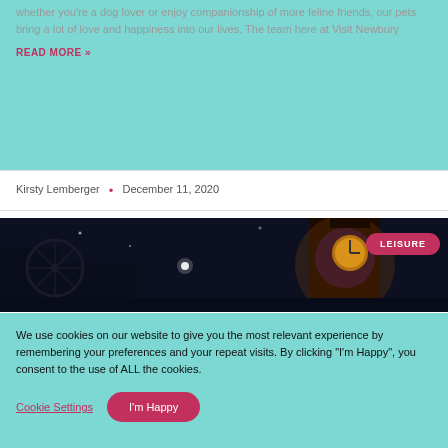whether you're a dog lover or enjoy companionship of more feline friends, our pets bring a lot of love and happiness into our lives. The team here at Visit Newbury
READ MORE »
Kirsty Lemberger • December 11, 2020
[Figure (photo): Nighttime photo of an illuminated clock tower with purple/orange lighting against a dark sky]
LEISURE
We use cookies on our website to give you the most relevant experience by remembering your preferences and your repeat visits. By clicking "I'm Happy", you consent to the use of ALL the cookies.
Cookie Settings
I'm Happy